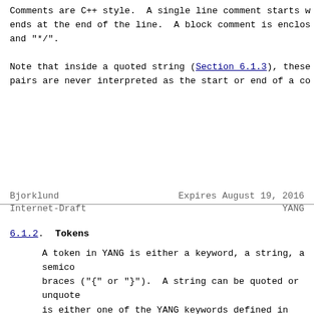Comments are C++ style.  A single line comment starts w ends at the end of the line.  A block comment is enclos and "*/".
Note that inside a quoted string (Section 6.1.3), these pairs are never interpreted as the start or end of a co
Bjorklund                    Expires August 19, 2016
Internet-Draft                    YANG
6.1.2.  Tokens
A token in YANG is either a keyword, a string, a semico braces ("{" or "}").  A string can be quoted or unquote is either one of the YANG keywords defined in this docu prefix identifier, followed by ":", followed by a langu keyword.  Keywords are case sensitive.  See Section 6.2 definition of identifiers.
6.1.3.  Quoting
If a string contains any space, tab, or newline charact or double quote character, a semicolon (";"), braces ("